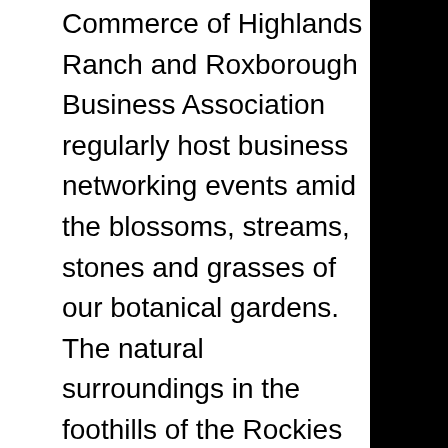Commerce of Highlands Ranch and Roxborough Business Association regularly host business networking events amid the blossoms, streams, stones and grasses of our botanical gardens. The natural surroundings in the foothills of the Rockies are an inspirational setting not just for remembering loved ones but also for celebrating life. Those seeking a peaceful outdoor Denver event venue have been both surprised and captivated by the opportunities at Seven Stones Chatfield Botanical Gardens Cemetery.